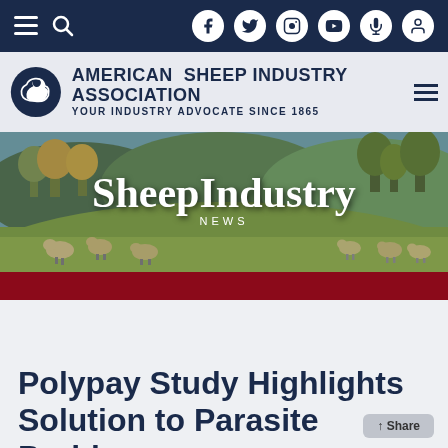Navigation bar with hamburger menu, search, and social media icons (Facebook, Twitter, Instagram, YouTube, microphone, user account)
[Figure (logo): American Sheep Industry Association logo with circular sheep icon, title 'AMERICAN SHEEP INDUSTRY ASSOCIATION' and subtitle 'YOUR INDUSTRY ADVOCATE SINCE 1865']
[Figure (photo): Panoramic banner photo of sheep grazing on green hillside pasture with trees and mountains in background, overlaid with 'SheepIndustry NEWS' text]
Polypay Study Highlights Solution to Parasite Problem